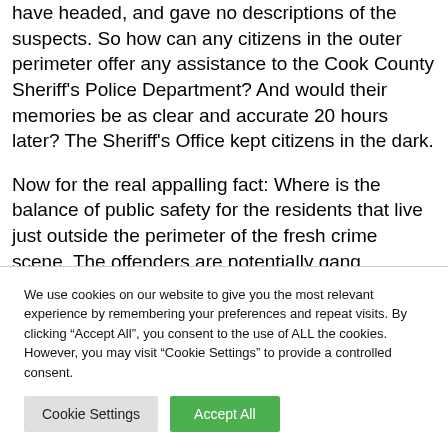have headed, and gave no descriptions of the suspects. So how can any citizens in the outer perimeter offer any assistance to the Cook County Sheriff's Police Department? And would their memories be as clear and accurate 20 hours later? The Sheriff's Office kept citizens in the dark.
Now for the real appalling fact: Where is the balance of public safety for the residents that live just outside the perimeter of the fresh crime scene. The offenders are potentially gang members, perhaps drug-crazed, and
We use cookies on our website to give you the most relevant experience by remembering your preferences and repeat visits. By clicking "Accept All", you consent to the use of ALL the cookies. However, you may visit "Cookie Settings" to provide a controlled consent.